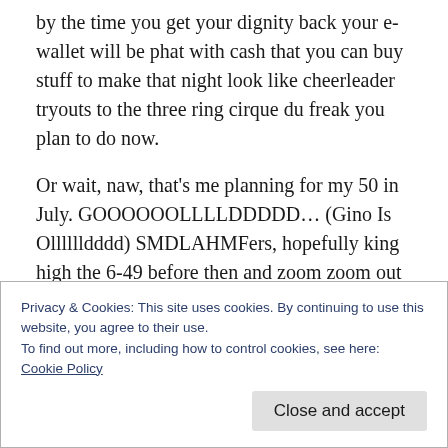by the time you get your dignity back your e-wallet will be phat with cash that you can buy stuff to make that night look like cheerleader tryouts to the three ring cirque du freak you plan to do now.
Or wait, naw, that's me planning for my 50 in July. GOOOOOOLLLLDDDDD… (Gino Is Olllllldddd) SMDLAHMFers, hopefully king high the 6-49 before then and zoom zoom out someplace that even I couldn't make up the shit that will happen.
Privacy & Cookies: This site uses cookies. By continuing to use this website, you agree to their use.
To find out more, including how to control cookies, see here: Cookie Policy